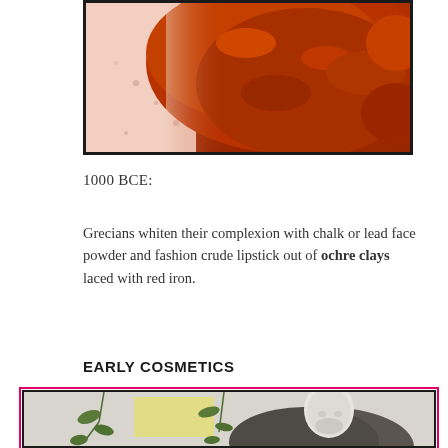[Figure (photo): Close-up photo of red ochre powder against a light background, showing rich reddish-brown pigment]
1000 BCE:
Grecians whiten their complexion with chalk or lead face powder and fashion crude lipstick out of ochre clays laced with red iron.
EARLY COSMETICS
[Figure (photo): Photo of an ancient Greek stone sculpture or bust of a bearded man, surrounded by hanging plants, against a white wall background]